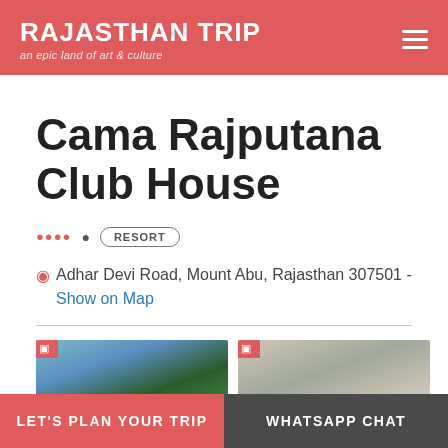RAJASTHAN TRIP
an epic land of art & culture
Cama Rajputana Club House
RESORT
Adhar Devi Road, Mount Abu, Rajasthan 307501 - Show on Map
[Figure (photo): Exterior photo of Cama Rajputana Club House at dusk with trees]
[Figure (photo): Interior photo of Cama Rajputana Club House room]
LET'S PLAN YOUR TRIP
WHATSAPP CHAT